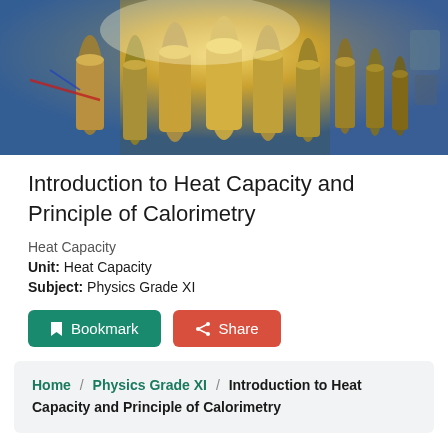[Figure (photo): Photo of metallic cylindrical scientific equipment (calorimeters or heat capacity apparatus) with blue background and warm golden lighting in the center]
Introduction to Heat Capacity and Principle of Calorimetry
Heat Capacity
Unit: Heat Capacity
Subject: Physics Grade XI
Bookmark  Share
Home / Physics Grade XI / Introduction to Heat Capacity and Principle of Calorimetry